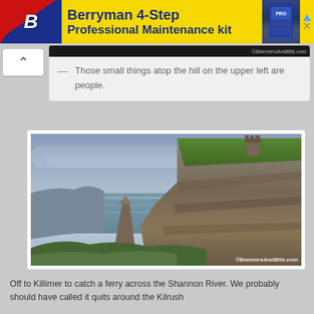[Figure (screenshot): Berryman 4-Step Professional Maintenance kit advertisement banner with red/blue diagonal logo on left, yellow background, and product image on right]
— Those small things atop the hill on the upper left are people.
[Figure (photo): Photograph of the Cliffs of Moher in Ireland showing dramatic sea cliffs with a stone tower on top, ocean in background, with ©BeemersAndBits.com watermark]
Off to Killimer to catch a ferry across the Shannon River. We probably should have called it quits around the Kilrush